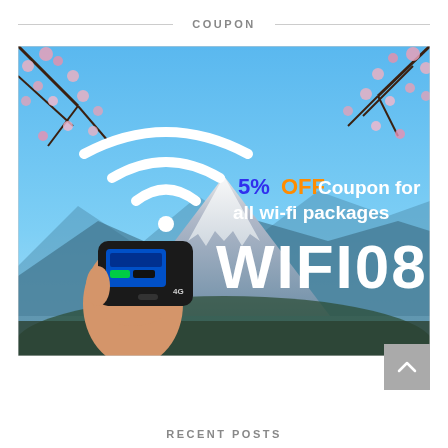COUPON
[Figure (infographic): WiFi coupon advertisement showing a hand holding a mobile WiFi router against a backdrop of Mount Fuji with cherry blossoms and blue sky. Large white WiFi symbol on the left. Text reads '5% OFF Coupon for all wi-fi packages' with coupon code 'WIFI08' in large white letters.]
RECENT POSTS